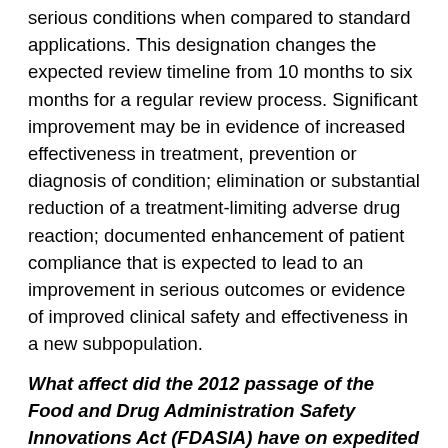serious conditions when compared to standard applications. This designation changes the expected review timeline from 10 months to six months for a regular review process. Significant improvement may be in evidence of increased effectiveness in treatment, prevention or diagnosis of condition; elimination or substantial reduction of a treatment-limiting adverse drug reaction; documented enhancement of patient compliance that is expected to lead to an improvement in serious outcomes or evidence of improved clinical safety and effectiveness in a new subpopulation.
What affect did the 2012 passage of the Food and Drug Administration Safety Innovations Act (FDASIA) have on expedited pathways?
FDASIA Section 902 amends the Federal Food, Drug, and Cosmetic Act (FD&C Act){1,2} to allow FDA to base accelerated approval for drugs for serious conditions that fill an unmet medical need on whether the drug has an effect on